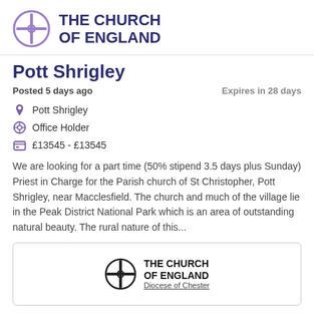[Figure (logo): The Church of England logo with purple cross-in-circle and bold purple text 'THE CHURCH OF ENGLAND']
Pott Shrigley
Posted 5 days ago
Expires in 28 days
Pott Shrigley
Office Holder
£13545 - £13545
We are looking for a part time (50% stipend 3.5 days plus Sunday) Priest in Charge for the Parish church of St Christopher, Pott Shrigley, near Macclesfield. The church and much of the village lie in the Peak District National Park which is an area of outstanding natural beauty. The rural nature of this...
[Figure (logo): The Church of England logo in black/grey with 'Diocese of Chester' subtitle, inside a bordered card]